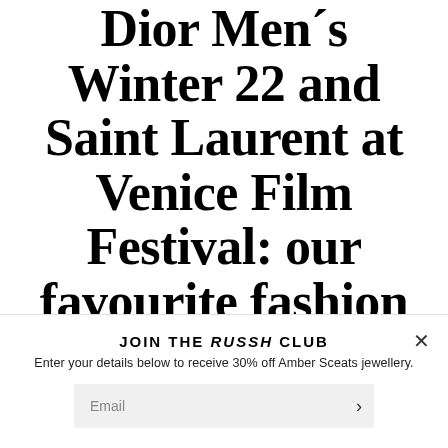Dior Men's Winter 22 and Saint Laurent at Venice Film Festival: our favourite fashion
JOIN THE RUSSH CLUB
Enter your details below to receive 30% off Amber Sceats jewellery.